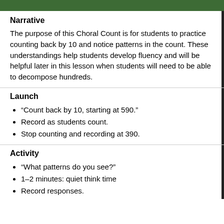Narrative
The purpose of this Choral Count is for students to practice counting back by 10 and notice patterns in the count. These understandings help students develop fluency and will be helpful later in this lesson when students will need to be able to decompose hundreds.
Launch
“Count back by 10, starting at 590.”
Record as students count.
Stop counting and recording at 390.
Activity
“What patterns do you see?”
1–2 minutes: quiet think time
Record responses.